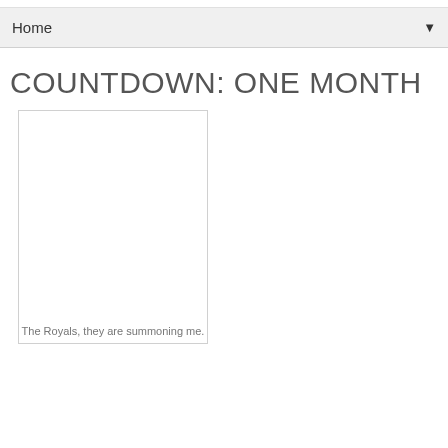Home
COUNTDOWN: ONE MONTH
[Figure (photo): A mostly white/blank image with caption at the bottom]
The Royals, they are summoning me.